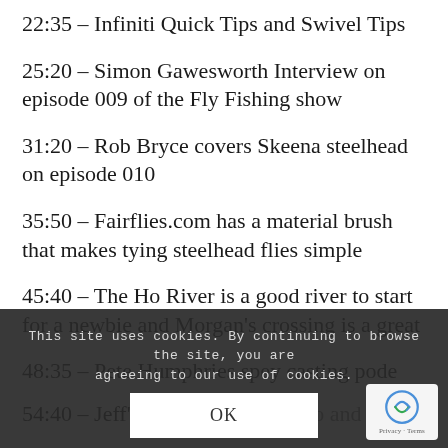22:35 – Infiniti Quick Tips and Swivel Tips
25:20 – Simon Gawesworth Interview on episode 009 of the Fly Fishing show
31:20 – Rob Bryce covers Skeena steelhead on episode 010
35:50 – Fairflies.com has a material brush that makes tying steelhead flies simple
45:40 – The Ho River is a good river to start for a newbie and Morgan's crossing is a great area
48:35 – Pete Humphries spey casting pode…
54:40 – Jeff's real streaming video and oth…
This site uses cookies. By continuing to browse the site, you are agreeing to our use of cookies.
OK